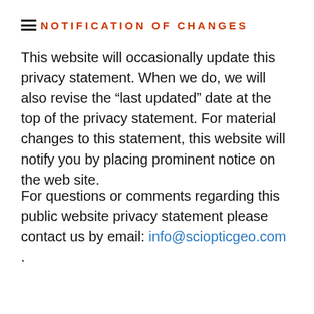NOTIFICATION OF CHANGES
This website will occasionally update this privacy statement. When we do, we will also revise the "last updated" date at the top of the privacy statement. For material changes to this statement, this website will notify you by placing prominent notice on the web site.
For questions or comments regarding this public website privacy statement please contact us by email: info@sciopticgeo.com .